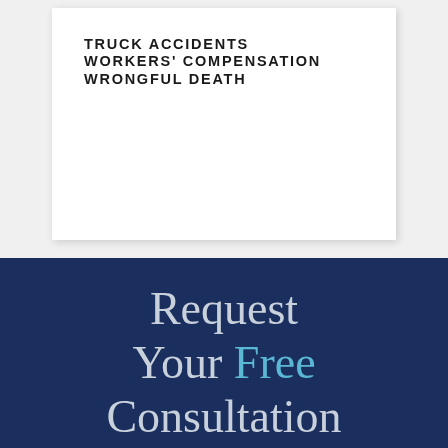TRUCK ACCIDENTS
WORKERS' COMPENSATION
WRONGFUL DEATH
Request Your Free Consultation